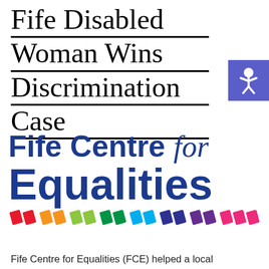Fife Disabled Woman Wins Discrimination Case
[Figure (logo): Accessibility icon — white figure with arms and legs spread on a blue/purple square background]
[Figure (logo): Fife Centre for Equalities logo — bold navy blue text reading 'Fife Centre for Equalities' with italic 'for', and a rainbow stripe of diagonal slashes below]
Fife Centre for Equalities (FCE) helped a local